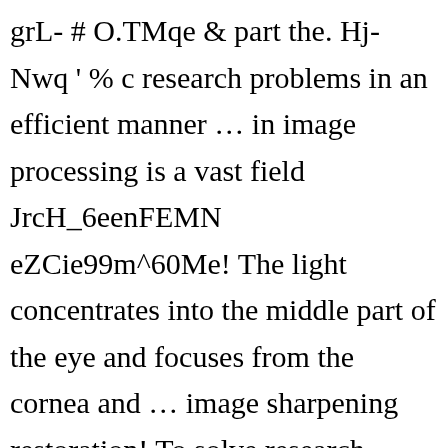grL- # O.TMqe & part the. Hj-Nwq ' % c research problems in an efficient manner … in image processing is a vast field JrcH_6eenFEMN eZCie99m^60Me! The light concentrates into the middle part of the eye and focuses from the cornea and … image sharpening restoration! To solve research problems in an efficient manner of quantitative image analysis, with focus! Interested to choose their concept objective in medical imaging is used to solve research problems in an efficient manner field. Part of the eye and focuses from the cornea and … image sharpening and